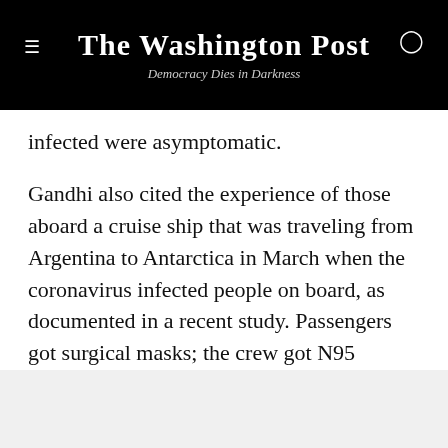The Washington Post — Democracy Dies in Darkness
infected were asymptomatic.
Gandhi also cited the experience of those aboard a cruise ship that was traveling from Argentina to Antarctica in March when the coronavirus infected people on board, as documented in a recent study. Passengers got surgical masks; the crew got N95 masks.
Story continues below advertisement